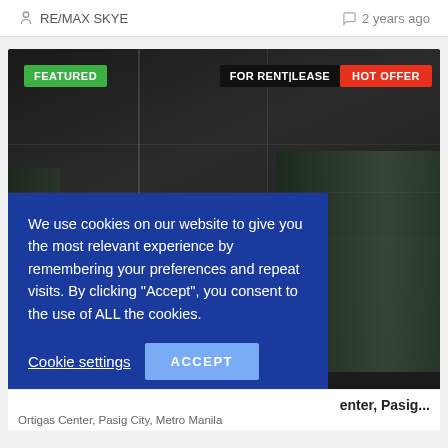RE/MAX SKYE   2 years ago
[Figure (photo): Interior photo of an empty office space in Ortigas Center, Pasig City, with dark ceiling tiles, fluorescent lighting, and floor-to-ceiling windows on the right side showing greenery outside. Overlaid badges: FEATURED (green), FOR RENT|LEASE (black), HOT OFFER (red).]
We use cookies on our website to give you the most relevant experience by remembering your preferences and repeat visits. By clicking “Accept”, you consent to the use of ALL the cookies.
Cookie settings   ACCEPT
enter, Pasig...
Ortigas Center, Pasig City, Metro Manila